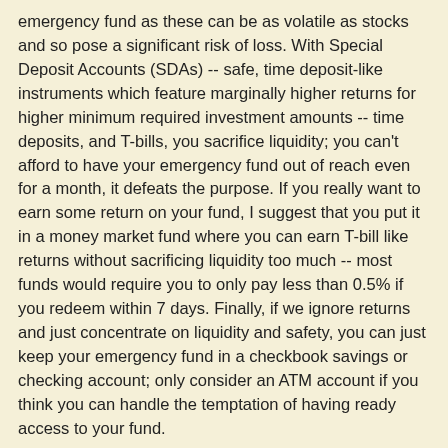emergency fund as these can be as volatile as stocks and so pose a significant risk of loss. With Special Deposit Accounts (SDAs) -- safe, time deposit-like instruments which feature marginally higher returns for higher minimum required investment amounts -- time deposits, and T-bills, you sacrifice liquidity; you can't afford to have your emergency fund out of reach even for a month, it defeats the purpose. If you really want to earn some return on your fund, I suggest that you put it in a money market fund where you can earn T-bill like returns without sacrificing liquidity too much -- most funds would require you to only pay less than 0.5% if you redeem within 7 days. Finally, if we ignore returns and just concentrate on liquidity and safety, you can just keep your emergency fund in a checkbook savings or checking account; only consider an ATM account if you think you can handle the temptation of having ready access to your fund.
Investor Juan at 11:14 AM
Share